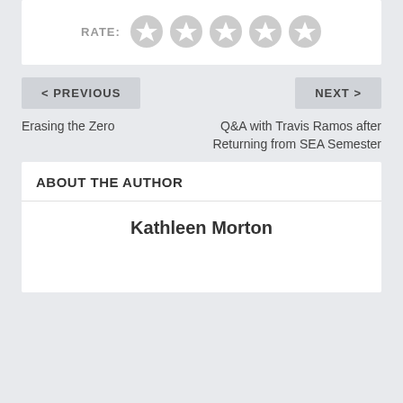[Figure (other): Star rating widget with label RATE: and 5 empty/grey star icons]
< PREVIOUS
Erasing the Zero
NEXT >
Q&A with Travis Ramos after Returning from SEA Semester
ABOUT THE AUTHOR
Kathleen Morton